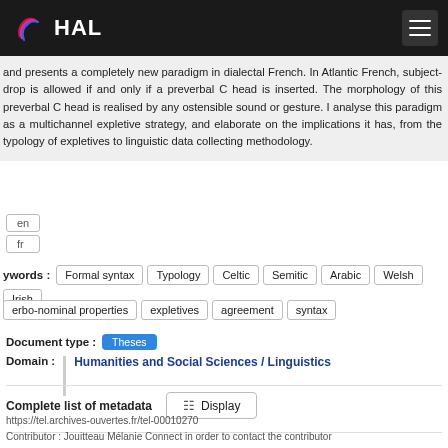HAL
and presents a completely new paradigm in dialectal French. In Atlantic French, subject-drop is allowed if and only if a preverbal C head is inserted. The morphology of this preverbal C head is realised by any ostensible sound or gesture. I analyse this paradigm as a multichannel expletive strategy, and elaborate on the implications it has, from the typology of expletives to linguistic data collecting methodology.
en
fr
Keywords : Formal syntax  Typology  Celtic  Semitic  Arabic  Welsh  Irish  Verbo-nominal properties  expletives  agreement  syntax
Document type : Theses
Domain : Humanities and Social Sciences / Linguistics
Complete list of metadata   Display
https://tel.archives-ouvertes.fr/tel-00010270
Contributor : Jouitteau Mélanie Connect in order to contact the contributor